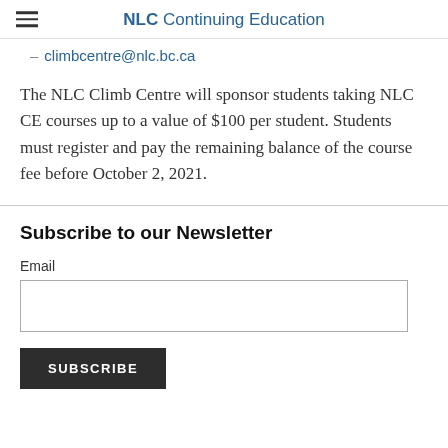NLC Continuing Education
- climbcentre@nlc.bc.ca
The NLC Climb Centre will sponsor students taking NLC CE courses up to a value of $100 per student. Students must register and pay the remaining balance of the course fee before October 2, 2021.
Subscribe to our Newsletter
Email